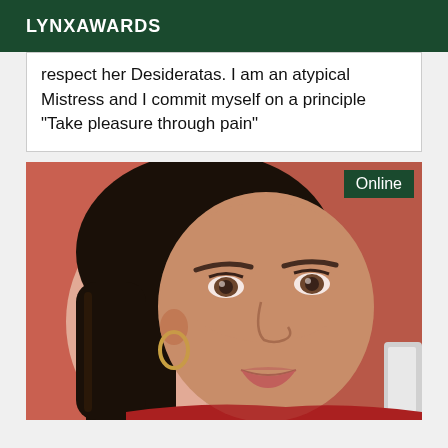LYNXAWARDS
respect her Desideratas. I am an atypical Mistress and I commit myself on a principle "Take pleasure through pain"
[Figure (photo): Portrait photo of a dark-haired woman with hoop earrings, wearing red, in a warmly lit reddish interior. An 'Online' badge appears in the top right corner of the photo.]